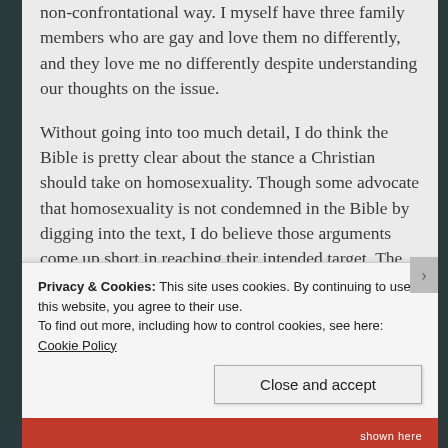non-confrontational way. I myself have three family members who are gay and love them no differently, and they love me no differently despite understanding our thoughts on the issue.
Without going into too much detail, I do think the Bible is pretty clear about the stance a Christian should take on homosexuality. Though some advocate that homosexuality is not condemned in the Bible by digging into the text, I do believe those arguments come up short in reaching their intended target. The overall tone toward homosexuality from cover to cover is negative. The most explicit verses used are Romans 1:18-32 (I know, surprise surprise), but I think it holds true. I've looked at with a very open mind and heart, but still believe the
Privacy & Cookies: This site uses cookies. By continuing to use this website, you agree to their use.
To find out more, including how to control cookies, see here: Cookie Policy
Close and accept